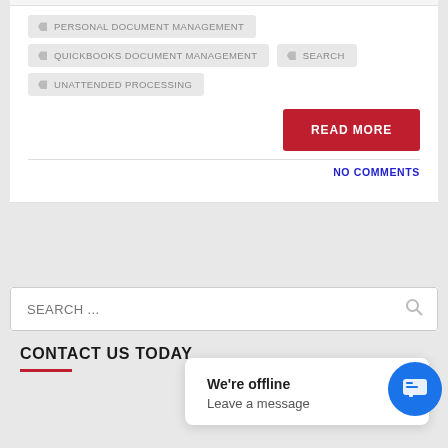PERSONAL DOCUMENT MANAGEMENT
QUICKBOOKS DOCUMENT MANAGEMENT
SEARCH
UNATTENDED PROCESSING
[Figure (other): Red READ MORE button]
NO COMMENTS
[Figure (other): Search input box with placeholder SEARCH ...]
CONTACT US TODAY
[Figure (other): Chat widget popup saying We're offline / Leave a message with blue chat button]